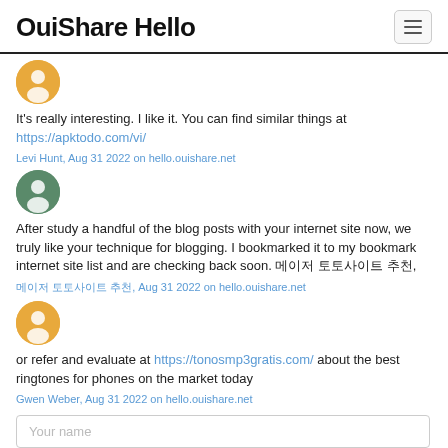OuiShare Hello
It's really interesting. I like it. You can find similar things at https://apktodo.com/vi/
Levi Hunt, Aug 31 2022 on hello.ouishare.net
After study a handful of the blog posts with your internet site now, we truly like your technique for blogging. I bookmarked it to my bookmark internet site list and are checking back soon. 메이저 토토사이트 추천,
메이저 토토사이트 추천, Aug 31 2022 on hello.ouishare.net
or refer and evaluate at https://tonosmp3gratis.com/ about the best ringtones for phones on the market today
Gwen Weber, Aug 31 2022 on hello.ouishare.net
Your name